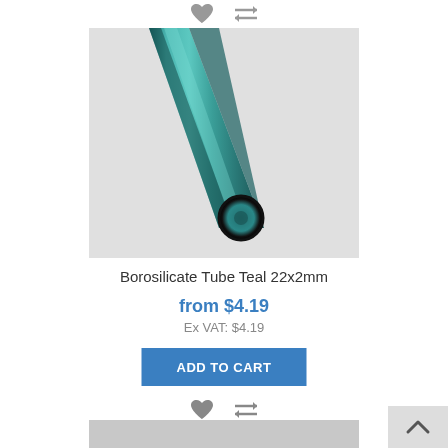[Figure (photo): A teal/green borosilicate glass tube photographed at an angle showing the circular cross-section at the bottom end, on a light grey background.]
Borosilicate Tube Teal 22x2mm
from $4.19
Ex VAT: $4.19
ADD TO CART